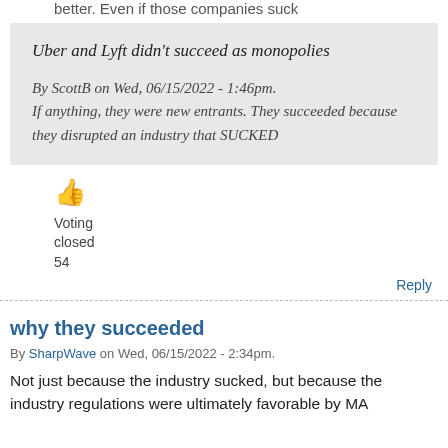better. Even if those companies suck
Uber and Lyft didn't succeed as monopolies

By ScottB on Wed, 06/15/2022 - 1:46pm.
If anything, they were new entrants. They succeeded because they disrupted an industry that SUCKED
[Figure (other): Thumbs up emoji icon in orange]
Voting
closed
54
Reply
why they succeeded
By SharpWave on Wed, 06/15/2022 - 2:34pm.
Not just because the industry sucked, but because the industry regulations were ultimately favorable by MA...